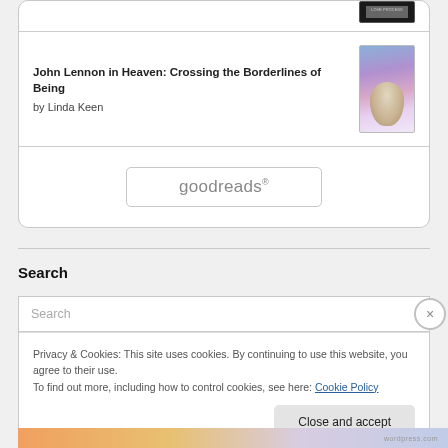[Figure (screenshot): Partial book cover thumbnail at top, cropped, dark background with text]
John Lennon in Heaven: Crossing the Borderlines of Being
by Linda Keen
[Figure (illustration): Book cover for John Lennon in Heaven: blue/purple gradient with figure of person]
[Figure (logo): Goodreads logo button with rounded rectangle border]
Search
Search
Privacy & Cookies: This site uses cookies. By continuing to use this website, you agree to their use.
To find out more, including how to control cookies, see here: Cookie Policy
Close and accept